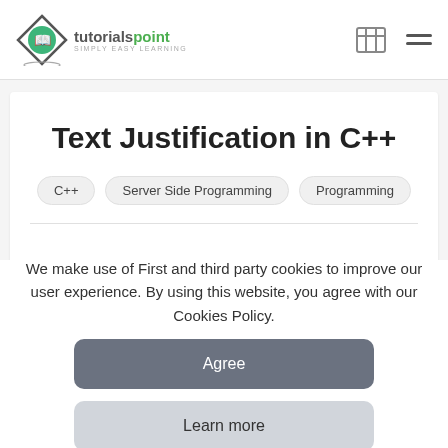[Figure (logo): Tutorialspoint logo with diamond shape icon and text 'tutorialspoint SIMPLY EASY LEARNING']
Text Justification in C++
C++
Server Side Programming
Programming
We make use of First and third party cookies to improve our user experience. By using this website, you agree with our Cookies Policy.
Agree
Learn more